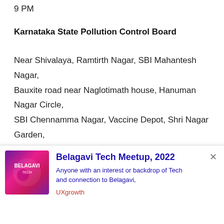9 PM
Karnataka State Pollution Control Board
Near Shivalaya, Ramtirth Nagar, SBI Mahantesh Nagar, Bauxite road near Naglotimath house, Hanuman Nagar Circle, SBI Chennamma Nagar, Vaccine Depot, Shri Nagar Garden, Near Sai Baba Temple Vantmuri, Shahu Nagar last bus stop, Hari mandir Angol – 5 PM to 9 PM
[Figure (infographic): Advertisement banner for Belagavi Tech Meetup 2022 with a purple/pink gradient image on the left, title 'Belagavi Tech Meetup, 2022' in blue, subtitle 'Anyone with an interest or backdrop of Tech and connection to Belagavi,' in blue, and source 'UXgrowth' in red.]